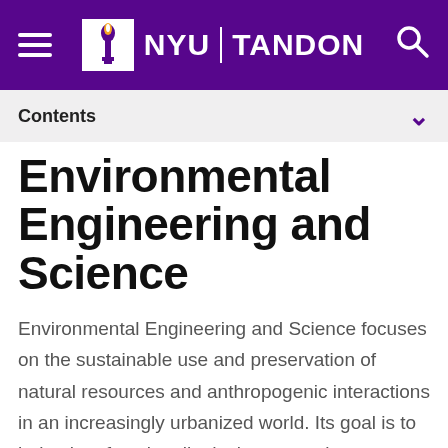NYU TANDON
Contents
Environmental Engineering and Science
Environmental Engineering and Science focuses on the sustainable use and preservation of natural resources and anthropogenic interactions in an increasingly urbanized world. Its goal is to help plan, functionally design, control, operate and manage municipal and industrial pollution-prevention systems.